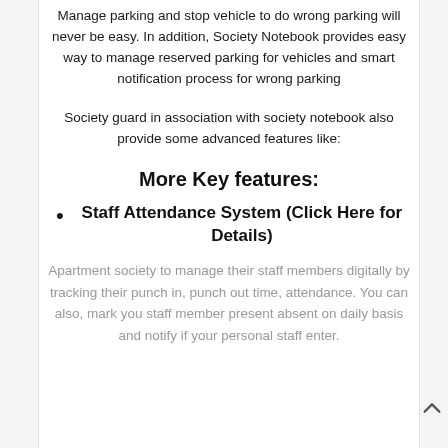Manage parking and stop vehicle to do wrong parking will never be easy. In addition, Society Notebook provides easy way to manage reserved parking for vehicles and smart notification process for wrong parking
Society guard in association with society notebook also provide some advanced features like:
More Key features:
Staff Attendance System (Click Here for Details)
Apartment society to manage their staff members digitally by tracking their punch in, punch out time, attendance. You can also, mark you staff member present absent on daily basis and notify if your personal staff enter.